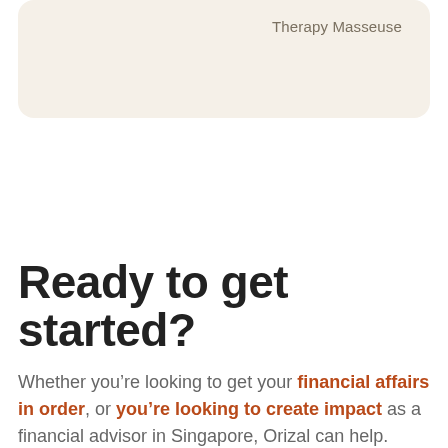Therapy Masseuse
Ready to get started?
Whether you’re looking to get your financial affairs in order, or you’re looking to create impact as a financial advisor in Singapore, Orizal can help. Explore more, or get in touch with us to get started.